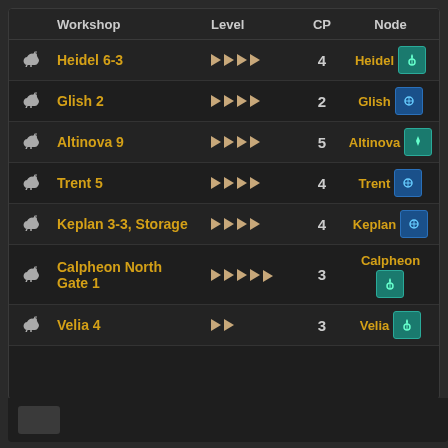|  | Workshop | Level | CP | Node |
| --- | --- | --- | --- | --- |
| 🐎 | Heidel 6-3 | ▶▶▶▶ | 4 | Heidel [teal icon] |
| 🐎 | Glish 2 | ▶▶▶▶ | 2 | Glish [blue icon] |
| 🐎 | Altinova 9 | ▶▶▶▶ | 5 | Altinova [teal icon] |
| 🐎 | Trent 5 | ▶▶▶▶ | 4 | Trent [blue icon] |
| 🐎 | Keplan 3-3, Storage | ▶▶▶▶ | 4 | Keplan [blue icon] |
| 🐎 | Calpheon North Gate 1 | ▶▶▶▶▶ | 3 | Calpheon [teal icon] |
| 🐎 | Velia 4 | ▶▶ | 3 | Velia [teal icon] |